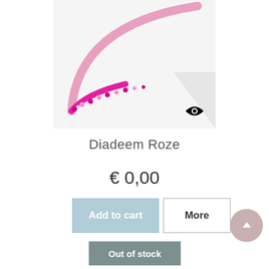[Figure (photo): A pink beaded hair headband/diadem on a white background, with an eye icon overlay in the bottom right corner of the image thumbnail.]
Diadeem Roze
€ 0,00
Add to cart
More
Out of stock